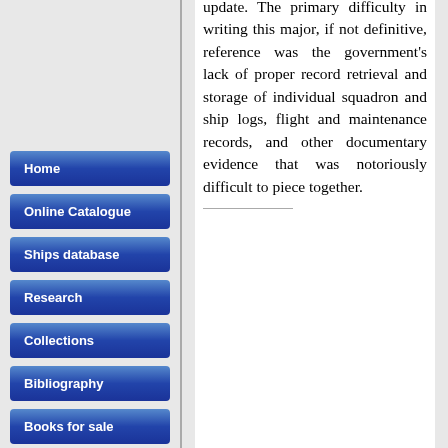Home
Online Catalogue
Ships database
Research
Collections
Bibliography
Books for sale
update. The primary difficulty in writing this major, if not definitive, reference was the government's lack of proper record retrieval and storage of individual squadron and ship logs, flight and maintenance records, and other documentary evidence that was notoriously difficult to piece together.